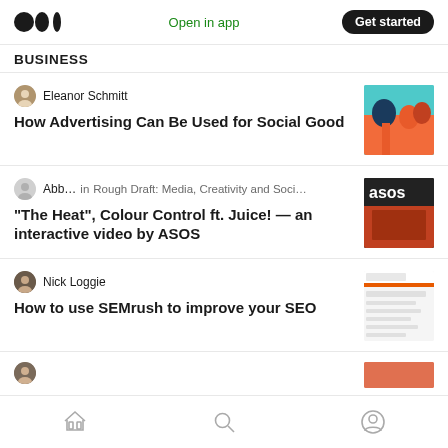Medium app header — Open in app | Get started
BUSINESS
Eleanor Schmitt
How Advertising Can Be Used for Social Good
Abb…  in  Rough Draft: Media, Creativity and Soci…
“The Heat”, Colour Control ft. Juice! — an interactive video by ASOS
Nick Loggie
How to use SEMrush to improve your SEO
Bottom navigation: Home | Search | Profile